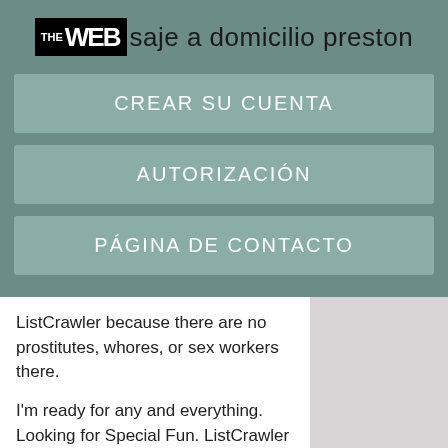THE WEB saje a domicilio preston
CREAR SU CUENTA
AUTORIZACIÓN
PÁGINA DE CONTACTO
ListCrawler because there are no prostitutes, whores, or sex workers there.
I'm ready for any and everything. Looking for Special Fun. ListCrawler has thousands of escort profiles with photos, reviews and ratings that help you